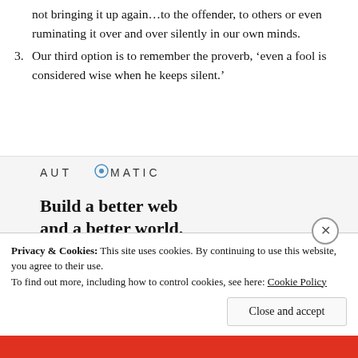not bringing it up again...to the offender, to others or even ruminating it over and over silently in our own minds.
Our third option is to remember the proverb, ‘even a fool is considered wise when he keeps silent.’
[Figure (logo): Automattic logo in uppercase letters with a circular icon replacing the letter O]
[Figure (infographic): Advertisement banner: 'Build a better web and a better world.' with an Apply button and a photo of a man thinking]
Privacy & Cookies: This site uses cookies. By continuing to use this website, you agree to their use.
To find out more, including how to control cookies, see here: Cookie Policy
Close and accept